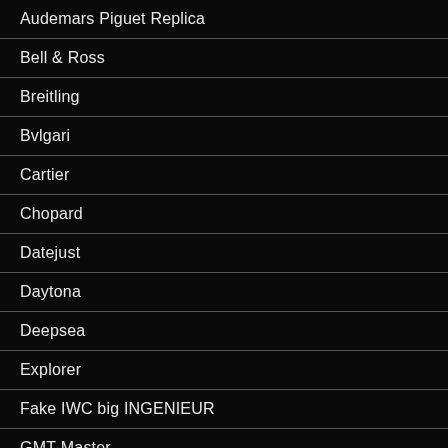Audemars Piguet Replica
Bell & Ross
Breitling
Bvlgari
Cartier
Chopard
Datejust
Daytona
Deepsea
Explorer
Fake IWC big INGENIEUR
GMT-Master